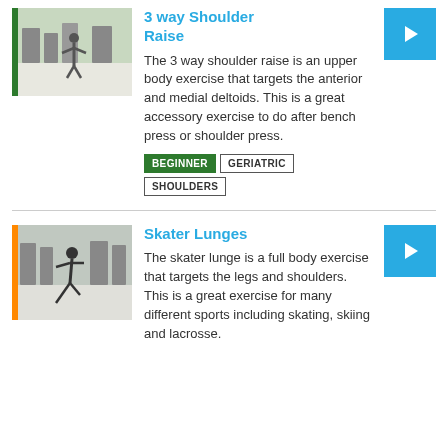3 way Shoulder Raise
The 3 way shoulder raise is an upper body exercise that targets the anterior and medial deltoids. This is a great accessory exercise to do after bench press or shoulder press.
BEGINNER
GERIATRIC
SHOULDERS
Skater Lunges
The skater lunge is a full body exercise that targets the legs and shoulders. This is a great exercise for many different sports including skating, skiing and lacrosse.